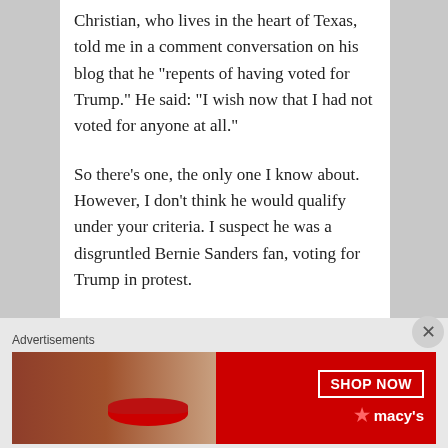Christian, who lives in the heart of Texas, told me in a comment conversation on his blog that he “repents of having voted for Trump.” He said: “I wish now that I had not voted for anyone at all.”

So there’s one, the only one I know about. However, I don’t think he would qualify under your criteria. I suspect he was a disgruntled Bernie Sanders fan, voting for Trump in protest.

Earlier today I posted about Melania Trump taking a tour of a border facility in Texas,
Advertisements
[Figure (other): Red advertisement banner for Macy's featuring a woman's face with red lips. Text reads 'KISS BORING LIPS GOODBYE' on the left and 'SHOP NOW' button with Macy's star logo on the right.]